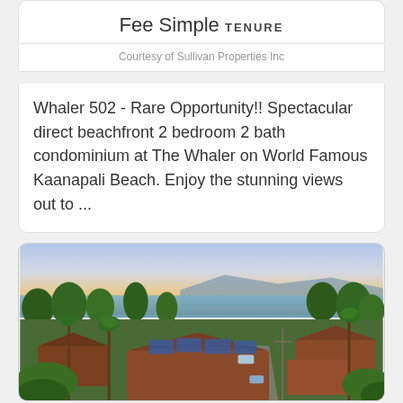Fee Simple TENURE
Courtesy of Sullivan Properties Inc
Whaler 502 - Rare Opportunity!! Spectacular direct beachfront 2 bedroom 2 bath condominium at The Whaler on World Famous Kaanapali Beach. Enjoy the stunning views out to ...
[Figure (photo): Aerial photo of a Hawaii neighborhood with tropical trees, red-tile roofed homes with solar panels, palm trees, and ocean/mountain view in the background at sunset.]